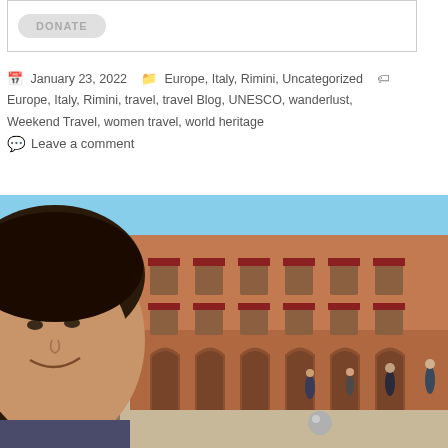[Figure (other): Donate button inside a bordered box]
January 23, 2022   Europe, Italy, Rimini, Uncategorized   Europe, Italy, Rimini, travel, travel Blog, UNESCO, wanderlust, Weekend Travel, women travel, world heritage
Leave a comment
[Figure (photo): Selfie of a woman smiling in a sunny Italian piazza with a large terracotta-colored building with arched porticoes in the background, people walking around the square.]